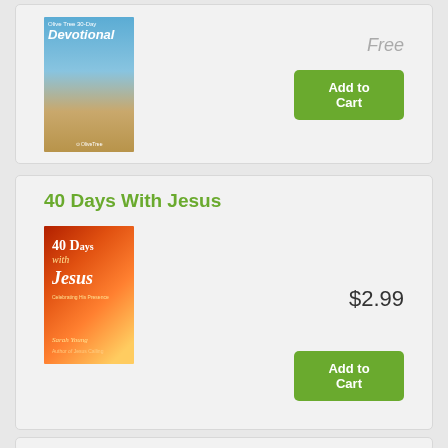[Figure (illustration): Book cover: Olive Tree 30-Day Devotional, showing tall grass against blue sky]
Free
Add to Cart
40 Days With Jesus
[Figure (illustration): Book cover: 40 Days with Jesus by Sarah Young, red/orange fiery background]
$2.99
Add to Cart